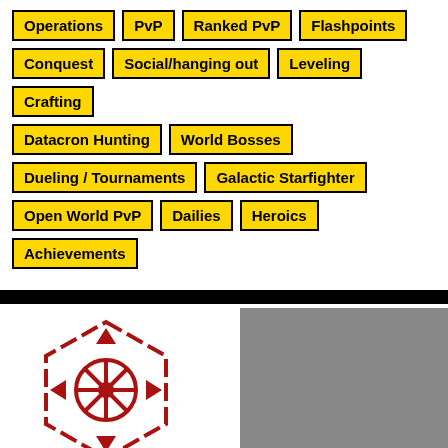Operations
PvP
Ranked PvP
Flashpoints
Conquest
Social/hanging out
Leveling
Crafting
Datacron Hunting
World Bosses
Dueling / Tournaments
Galactic Starfighter
Open World PvP
Dailies
Heroics
Achievements
[Figure (logo): Sith Empire guild logo with hexagon, spoked wheel symbol, and stacked red bar rank indicator below]
Black